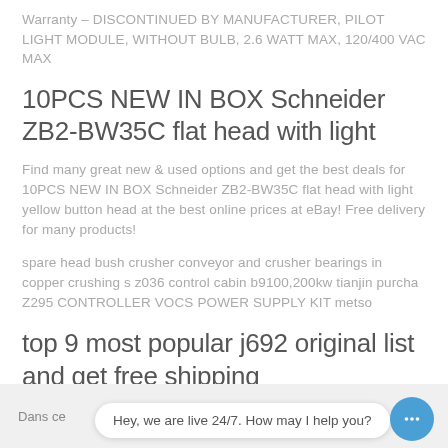Warranty - DISCONTINUED BY MANUFACTURER, PILOT LIGHT MODULE, WITHOUT BULB, 2.6 WATT MAX, 120/400 VAC MAX
10PCS NEW IN BOX Schneider ZB2-BW35C flat head with light
Find many great new & used options and get the best deals for 10PCS NEW IN BOX Schneider ZB2-BW35C flat head with light yellow button head at the best online prices at eBay! Free delivery for many products!
spare head bush crusher conveyor and crusher bearings in copper crushing s z036 control cabin b9100,200kw tianjin purcha Z295 CONTROLLER VOCS POWER SUPPLY KIT metso
top 9 most popular j692 original list and get free shipping
top 10 most popular push button system brands and get
Dans ce
Hey, we are live 24/7. How may I help you?